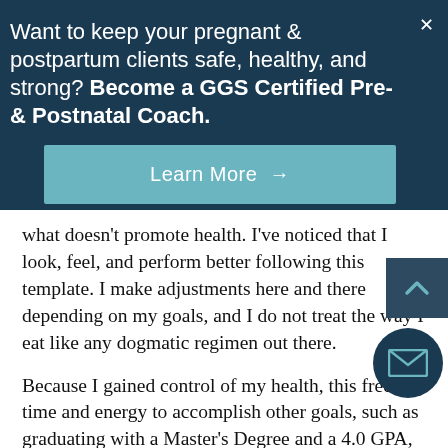Want to keep your pregnant & postpartum clients safe, healthy, and strong? Become a GGS Certified Pre- & Postnatal Coach.
Learn More →
what doesn't promote health. I've noticed that I look, feel, and perform better following this template. I make adjustments here and there depending on my goals, and I do not treat the way I eat like any dogmatic regimen out there.
Because I gained control of my health, this freed up time and energy to accomplish other goals, such as graduating with a Master's Degree and a 4.0 GPA, starting a nonpro… lifting heavy things, going on a bike tour…